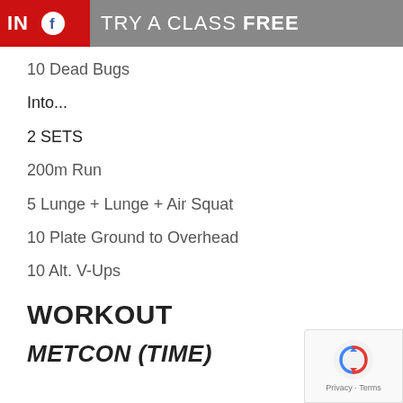PIN  TRY A CLASS FREE
10 Dead Bugs
Into...
2 SETS
200m Run
5 Lunge + Lunge + Air Squat
10 Plate Ground to Overhead
10 Alt. V-Ups
WORKOUT
METCON (TIME)